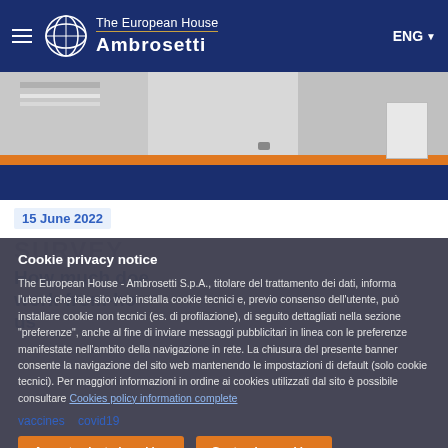The European House Ambrosetti
[Figure (illustration): Illustrated figures of people standing, grayscale with orange and blue accents]
15 June 2022
Cookie privacy notice
The European House - Ambrosetti S.p.A., titolare del trattamento dei dati, informa l'utente che tale sito web installa cookie tecnici e, previo consenso dell'utente, può installare cookie non tecnici (es. di profilazione), di seguito dettagliati nella sezione "preferenze", anche al fine di inviare messaggi pubblicitari in linea con le preferenze manifestate nell'ambito della navigazione in rete. La chiusura del presente banner consente la navigazione del sito web mantenendo le impostazioni di default (solo cookie tecnici). Per maggiori informazioni in ordine ai cookies utilizzati dal sito è possibile consultare Cookies policy information complete
Accept selected cookies
Customize cookies